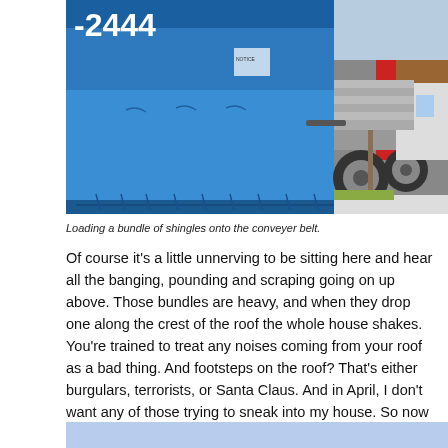[Figure (photo): A blue dumpster or container with the number '2444' visible on its side, with a large truck and trailer loaded with materials parked alongside a sidewalk, with grass and a building visible in the background.]
Loading a bundle of shingles onto the conveyer belt.
Of course it's a little unnerving to be sitting here and hear all the banging, pounding and scraping going on up above. Those bundles are heavy, and when they drop one along the crest of the roof the whole house shakes. You're trained to treat any noises coming from your roof as a bad thing. And footsteps on the roof? That's either burgulars, terrorists, or Santa Claus. And in April, I don't want any of those trying to sneak into my house. So now that it sounds like there's a sumo wrestling competition happening up there, my instincts are all out of whack.
[Figure (other): Light blue rectangular banner/box at the bottom of the page.]